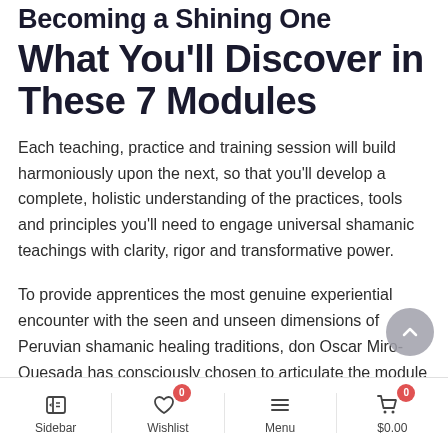Becoming a Shining One
What You'll Discover in These 7 Modules
Each teaching, practice and training session will build harmoniously upon the next, so that you'll develop a complete, holistic understanding of the practices, tools and principles you'll need to engage universal shamanic teachings with clarity, rigor and transformative power.
To provide apprentices the most genuine experiential encounter with the seen and unseen dimensions of Peruvian shamanic healing traditions, don Oscar Miro-Quesada has consciously chosen to articulate the module descriptions (see below) associated with this
Sidebar  Wishlist 0  Menu  $0.00 0